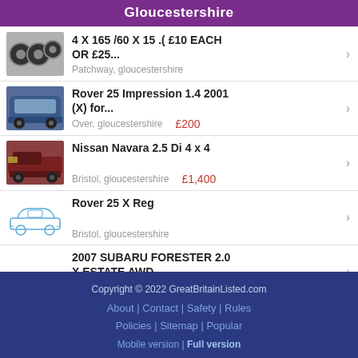Gloucestershire
4 X 165 /60 X 15 .( £10 EACH OR £25... | Patchway, gloucestershire
Rover 25 Impression 1.4 2001 (X) for... | Over, gloucestershire | £200
Nissan Navara 2.5 Di 4 x 4 | Bristol, gloucestershire | £1,400
Rover 25 X Reg | Bristol, gloucestershire
2007 SUBARU FORESTER 2.0 X ESTATE AWD... | Abbeydale, gloucestershire
Copyright © 2022 GreatBritainListed.com
About | Contact | Safety | Rules
Policies | Sitemap | Popular
Mobile version | Full version